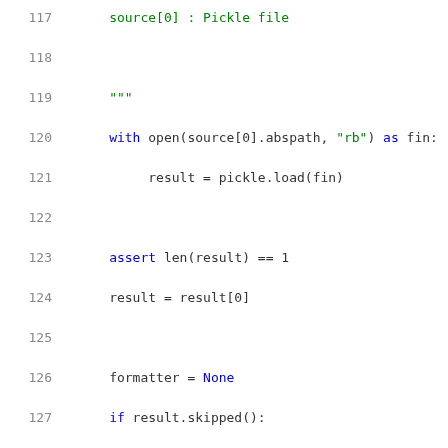Code listing lines 117-137: Python source code snippet showing pickle file loading and result formatting logic